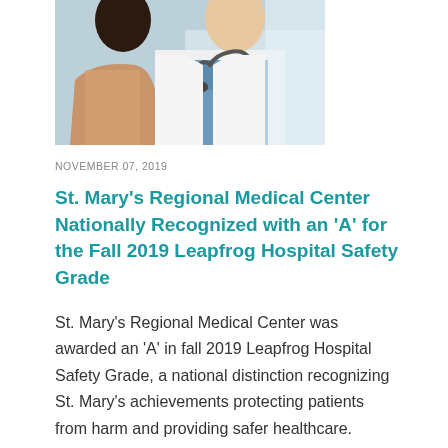[Figure (photo): A doctor in a white coat with a stethoscope, partially visible, speaking with a patient whose back is to the camera. Hospital corridor background.]
NOVEMBER 07, 2019
St. Mary's Regional Medical Center Nationally Recognized with an 'A' for the Fall 2019 Leapfrog Hospital Safety Grade
St. Mary's Regional Medical Center was awarded an 'A' in fall 2019 Leapfrog Hospital Safety Grade, a national distinction recognizing St. Mary's achievements protecting patients from harm and providing safer healthcare.